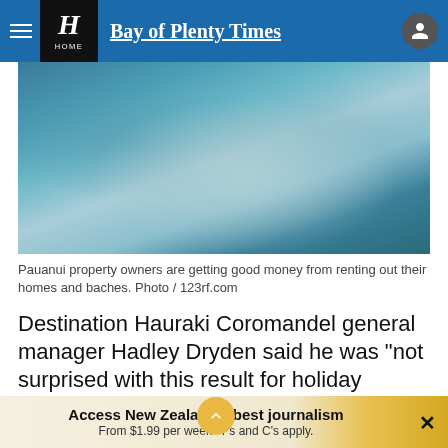Bay of Plenty Times
[Figure (photo): Blurred underwater or coastal water scene with blue and teal tones, soft light in center]
Pauanui property owners are getting good money from renting out their homes and baches. Photo / 123rf.com
Destination Hauraki Coromandel general manager Hadley Dryden said he was "not surprised with this result for holiday homes".
"With so many Kiwis unabl... travel offshore, good
Access New Zealand's best journalism
From $1.99 per week* T's and C's apply.